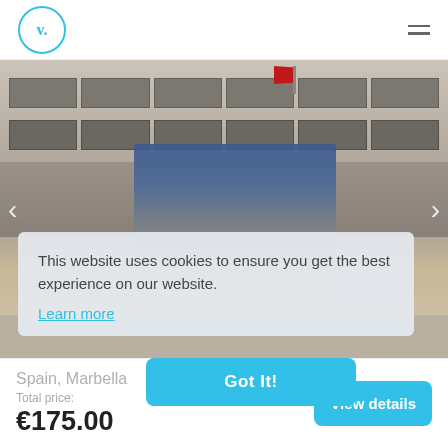[Figure (logo): v. logo in blue circle, top left]
[Figure (photo): Two tourists (man in navy shirt, woman in black top) standing in front of a historic building with red flag, likely Plaza Mayor Madrid, Spain]
This website uses cookies to ensure you get the best experience on our website.
Learn more
Got It!
Spain, Marbella
Total price:
€175.00
View details